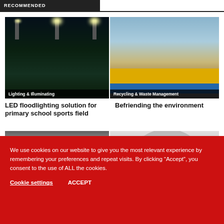RECOMMENDED
[Figure (photo): Night-time sports field with bright LED floodlights illuminating players on a green pitch. Caption overlay: Lighting & Illuminating]
[Figure (photo): Large yellow beam/crane loaded on a blue truck trailer in front of a brick building. Caption overlay: Recycling & Waste Management]
LED floodlighting solution for primary school sports field
Befriending the environment
[Figure (photo): Outdoor market or flea market scene with colourful umbrellas and goods.]
[Figure (photo): Close-up of white circular tubes or rings stacked in a row.]
We use cookies on our website to give you the most relevant experience by remembering your preferences and repeat visits. By clicking “Accept”, you consent to the use of ALL the cookies.
Cookie settings    ACCEPT